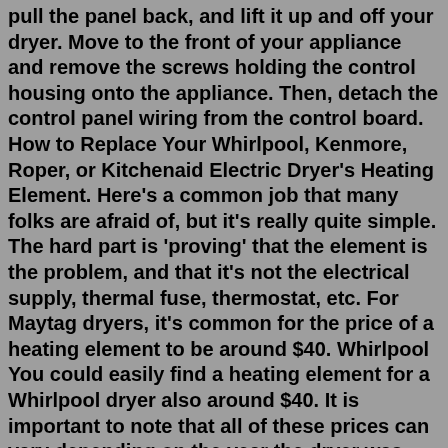pull the panel back, and lift it up and off your dryer. Move to the front of your appliance and remove the screws holding the control housing onto the appliance. Then, detach the control panel wiring from the control board. How to Replace Your Whirlpool, Kenmore, Roper, or Kitchenaid Electric Dryer's Heating Element. Here's a common job that many folks are afraid of, but it's really quite simple. The hard part is 'proving' that the element is the problem, and that it's not the electrical supply, thermal fuse, thermostat, etc. For Maytag dryers, it's common for the price of a heating element to be around $40. Whirlpool You could easily find a heating element for a Whirlpool dryer also around $40. It is important to note that all of these prices can vary depending on the year the dryer was made and the demand for the heating element at the time of need. This dryer heating element (OEM part number 3387747) #1 Home Improvement Retailer. Store Finder; Truck & Tool Rental; For the Pro ... This dryer heating element (OEM part number 3387747) has been